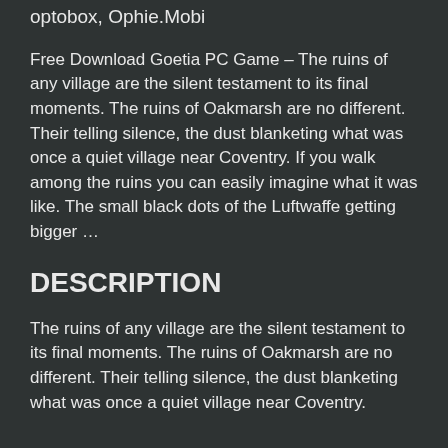optobox, Ophie.Mobi
Free Download Goetia PC Game – The ruins of any village are the silent testament to its final moments. The ruins of Oakmarsh are no different. Their telling silence, the dust blanketing what was once a quiet village near Coventry. If you walk among the ruins you can easily imagine what it was like. The small black dots of the Luftwaffe getting bigger …
DESCRIPTION
The ruins of any village are the silent testament to its final moments. The ruins of Oakmarsh are no different. Their telling silence, the dust blanketing what was once a quiet village near Coventry.